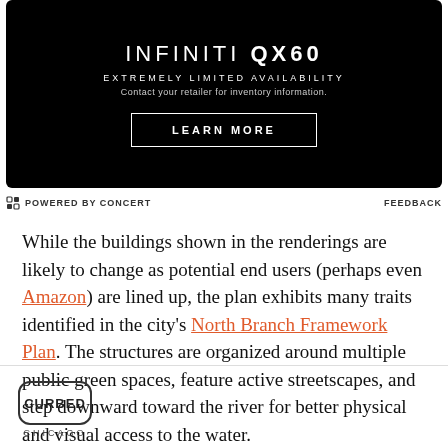[Figure (other): Advertisement banner for INFINITI QX60 on black background with 'EXTREMELY LIMITED AVAILABILITY', contact text, and a LEARN MORE button]
POWERED BY CONCERT   FEEDBACK
While the buildings shown in the renderings are likely to change as potential end users (perhaps even Amazon) are lined up, the plan exhibits many traits identified in the city's North Branch Framework Plan. The structures are organized around multiple public green spaces, feature active streetscapes, and step downward toward the river for better physical and visual access to the water.
[Figure (logo): Curbed Chicago logo — 'CURBED' in a house-shaped rounded rectangle border, with 'CHICAGO' below]